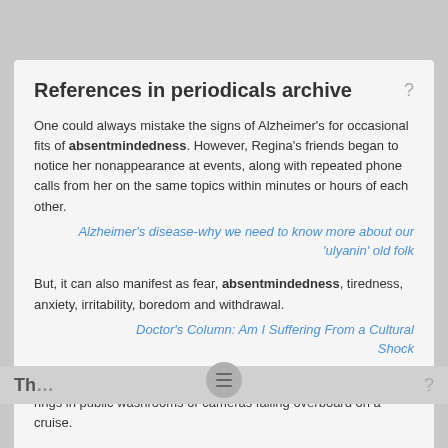References in periodicals archive
One could always mistake the signs of Alzheimer's for occasional fits of absentmindedness. However, Regina's friends began to notice her nonappearance at events, along with repeated phone calls from her on the same topics within minutes or hours of each other.
Alzheimer's disease-why we need to know more about our 'ulyanin' old folk
But, it can also manifest as fear, absentmindedness, tiredness, anxiety, irritability, boredom and withdrawal.
Doctor's Column: Am I Suffering From a Cultural Shock
Coverage is all-risk worldwide--even absentmindedness with rings in public washrooms or cameras falling overboard on a cruise.